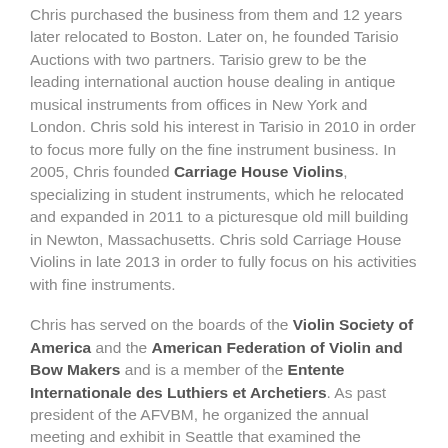Chris purchased the business from them and 12 years later relocated to Boston. Later on, he founded Tarisio Auctions with two partners. Tarisio grew to be the leading international auction house dealing in antique musical instruments from offices in New York and London. Chris sold his interest in Tarisio in 2010 in order to focus more fully on the fine instrument business. In 2005, Chris founded Carriage House Violins, specializing in student instruments, which he relocated and expanded in 2011 to a picturesque old mill building in Newton, Massachusetts. Chris sold Carriage House Violins in late 2013 in order to fully focus on his activities with fine instruments.
Chris has served on the boards of the Violin Society of America and the American Federation of Violin and Bow Makers and is a member of the Entente Internationale des Luthiers et Archetiers. As past president of the AFVBM, he organized the annual meeting and exhibit in Seattle that examined the Cremonese violins made between 1730 and 1750. He has also organized AFVBM